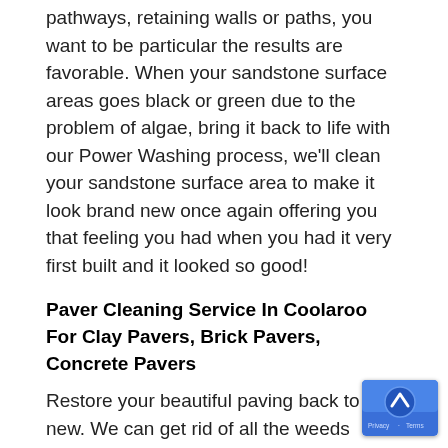pathways, retaining walls or paths, you want to be particular the results are favorable. When your sandstone surface areas goes black or green due to the problem of algae, bring it back to life with our Power Washing process, we'll clean your sandstone surface area to make it look brand new once again offering you that feeling you had when you had it very first built and it looked so good!
Paver Cleaning Service In Coolaroo For Clay Pavers, Brick Pavers, Concrete Pavers
Restore your beautiful paving back to new. We can get rid of all the weeds growing in between your pavers.
Paver washing can be very labour extensive. very rough nature of pavers is such that not do you have a porous material but to compound
[Figure (other): Scroll-to-top button widget in the bottom-right corner with a blue background and upward arrow icon, with Privacy and Terms labels.]